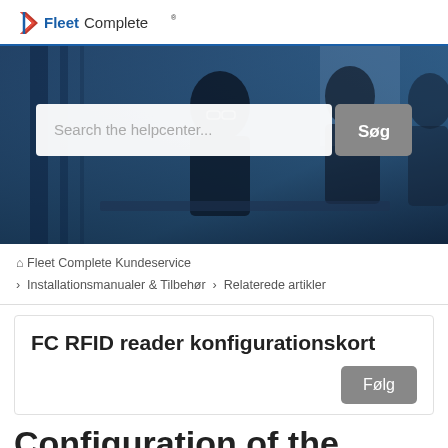Fleet Complete
[Figure (photo): Hero banner showing business people in a meeting/discussion setting with blue office background, with a search bar overlay reading 'Search the helpcenter...' and a 'Søg' button]
Fleet Complete Kundeservice > Installationsmanualer & Tilbehør > Relaterede artikler
FC RFID reader konfigurationskort
Følg
Configuration of the